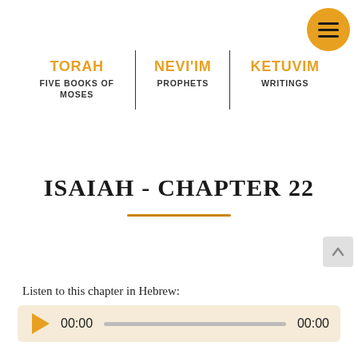[Figure (other): Orange circular hamburger menu button with three horizontal lines]
| TORAH | NEVI'IM | KETUVIM |
| --- | --- | --- |
| FIVE BOOKS OF MOSES | PROPHETS | WRITINGS |
ISAIAH - CHAPTER 22
Listen to this chapter in Hebrew:
[Figure (other): Audio player with play button, time display 00:00, progress bar, and end time 00:00]